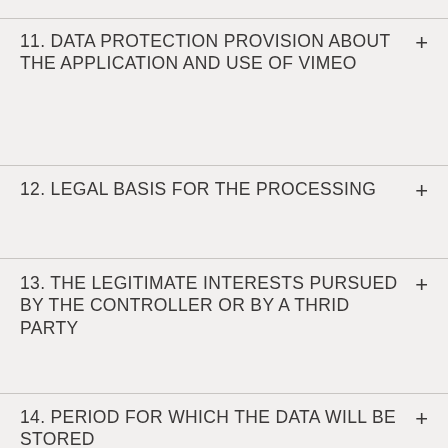11. DATA PROTECTION PROVISION ABOUT THE APPLICATION AND USE OF VIMEO
12. LEGAL BASIS FOR THE PROCESSING
13. THE LEGITIMATE INTERESTS PURSUED BY THE CONTROLLER OR BY A THRID PARTY
14. PERIOD FOR WHICH THE DATA WILL BE STORED